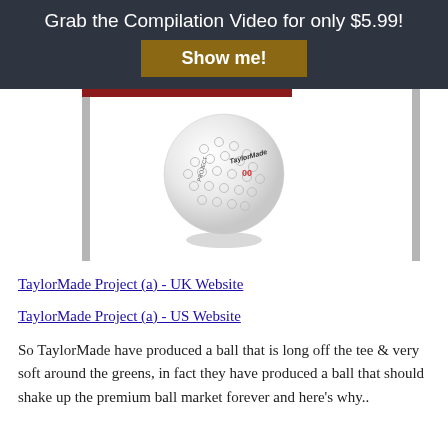Grab the Compilation Video for only $5.99!
Show me!
[Figure (photo): TaylorMade Project (a) white golf ball with dimples and TaylorMade logo branding]
TaylorMade Project (a) - UK Website
TaylorMade Project (a) - US Website
So TaylorMade have produced a ball that is long off the tee & very soft around the greens, in fact they have produced a ball that should shake up the premium ball market forever and here's why..